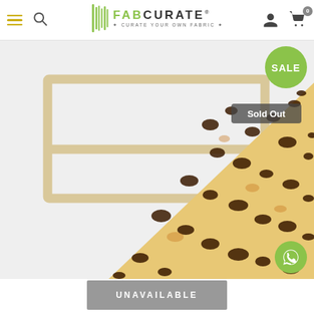FabCurate — Curate Your Own Fabric
[Figure (photo): Product photo showing a wooden frame with leopard print fabric draped over it diagonally. A green 'SALE' badge is in the top right corner and a 'Sold Out' badge appears below it.]
UNAVAILABLE